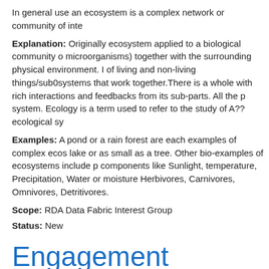In general use an ecosystem is a complex network or community of inte...
Explanation: Originally ecosystem applied to a biological community of microorganisms) together with the surrounding physical environment. In of living and non-living things/sub0systems that work together.There is a whole with rich interactions and feedbacks from its sub-parts. All the p system. Ecology is a term used to refer to the study of A??ecological sy
Examples: A pond or a rain forest are each examples of complex ecos lake or as small as a tree. Other bio-examples of ecosystems include p components like Sunlight, temperature, Precipitation, Water or moisture Herbivores, Carnivores, Omnivores, Detritivores.
Scope: RDA Data Fabric Interest Group
Status: New
Engagement
Definition
Engagement is an activity of engaging an audience's or group's attentio information and briefings about a topic. Engagements are conducted sh
Scope: RDA DET Interest Group